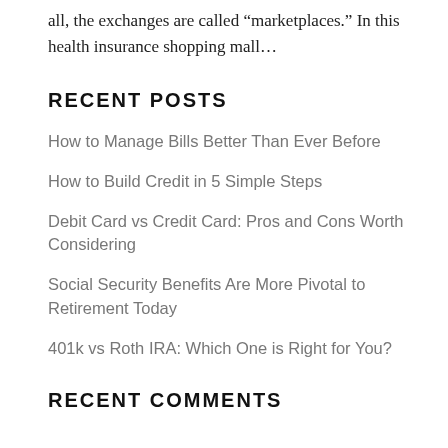all, the exchanges are called “marketplaces.” In this health insurance shopping mall…
RECENT POSTS
How to Manage Bills Better Than Ever Before
How to Build Credit in 5 Simple Steps
Debit Card vs Credit Card: Pros and Cons Worth Considering
Social Security Benefits Are More Pivotal to Retirement Today
401k vs Roth IRA: Which One is Right for You?
RECENT COMMENTS